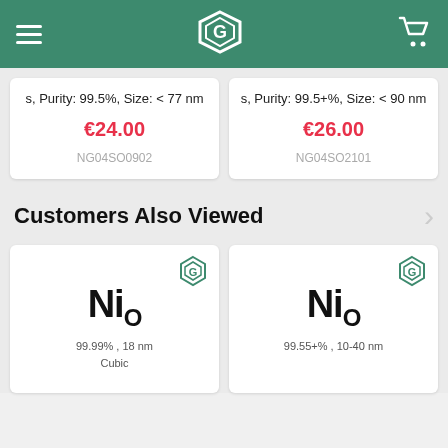Navigation bar with hamburger menu, G logo, and cart icon
s, Purity: 99.5%, Size: < 77 nm – €24.00 – NG04SO0902
s, Purity: 99.5+%, Size: < 90 nm – €26.00 – NG04SO2101
Customers Also Viewed
[Figure (other): NiO product card, 99.99%, 18 nm, Cubic]
[Figure (other): NiO product card, 99.55+%, 10-40 nm]